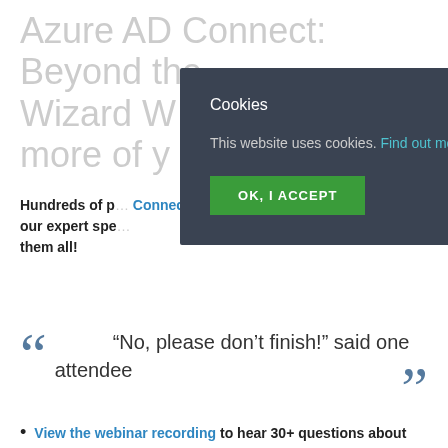Azure AD Connect: Beyond the Wizard W… more of y…
Hundreds of p… Connect webin… our expert spe… them all!
[Figure (screenshot): Cookie consent overlay on a dark background (#3a4352), with title 'Cookies', body text 'This website uses cookies. Find out more.' with 'Find out more.' as a teal hyperlink, and a green 'OK, I ACCEPT' button.]
“No, please don’t finish!” said one attendee
View the webinar recording to hear 30+ questions about AAD connect answered by Andreas Kjellman (formerly MIM and Azure AD Connect Program Manager for Microsoft), Jimmy Andersson (MVP Enterprise Mobility), James Cowling (CTO, Oxford